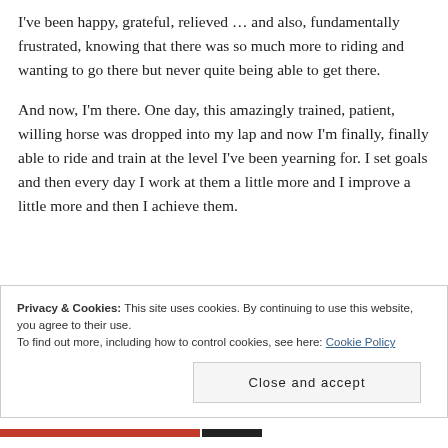I've been happy, grateful, relieved … and also, fundamentally frustrated, knowing that there was so much more to riding and wanting to go there but never quite being able to get there.
And now, I'm there. One day, this amazingly trained, patient, willing horse was dropped into my lap and now I'm finally, finally able to ride and train at the level I've been yearning for. I set goals and then every day I work at them a little more and I improve a little more and then I achieve them.
Privacy & Cookies: This site uses cookies. By continuing to use this website, you agree to their use.
To find out more, including how to control cookies, see here: Cookie Policy
Close and accept